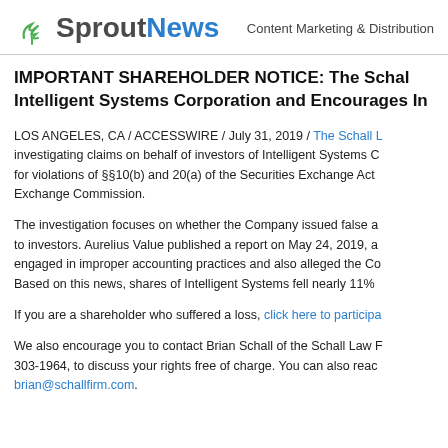SproutNews — Content Marketing & Distribution
IMPORTANT SHAREHOLDER NOTICE: The Schall Law Firm Announces an Investigation of Intelligent Systems Corporation and Encourages Investors with Losses to Contact the Firm
LOS ANGELES, CA / ACCESSWIRE / July 31, 2019 / The Schall Law Firm is investigating claims on behalf of investors of Intelligent Systems Corporation for violations of §§10(b) and 20(a) of the Securities Exchange Act and rules promulgated by the Securities and Exchange Commission.
The investigation focuses on whether the Company issued false and misleading statements to investors. Aurelius Value published a report on May 24, 2019, alleging the Company engaged in improper accounting practices and also alleged the Company committed fraud. Based on this news, shares of Intelligent Systems fell nearly 11%
If you are a shareholder who suffered a loss, click here to participate
We also encourage you to contact Brian Schall of the Schall Law Firm, 303-1964, to discuss your rights free of charge. You can also reach us at brian@schallfirm.com.